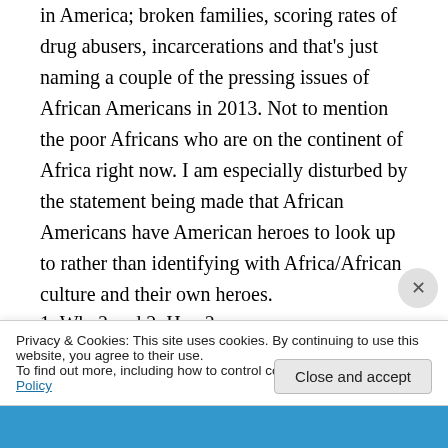in America; broken families, scoring rates of drug abusers, incarcerations and that's just naming a couple of the pressing issues of African Americans in 2013. Not to mention the poor Africans who are on the continent of Africa right now. I am especially disturbed by the statement being made that African Americans have American heroes to look up to rather than identifying with Africa/African culture and their own heroes.
1. Why? and 2. How?
Privacy & Cookies: This site uses cookies. By continuing to use this website, you agree to their use.
To find out more, including how to control cookies, see here: Cookie Policy